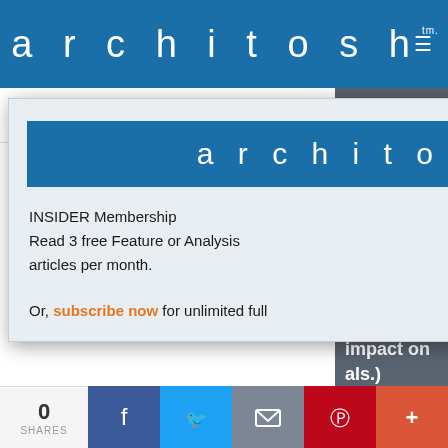architosh™
ToolTalk: Takin features
Autodesk open
[Figure (screenshot): architosh website logo on dark gray background showing brand name and INSIDER Xpresso section heading]
[Figure (screenshot): Modal popup with architosh logo and INSIDER Membership offer: Read 3 free Feature or Analysis articles per month. Or, subscribe now for unlimited full access.]
INSIDER Membership
Read 3 free Feature or Analysis articles per month.
Or, subscribe now for unlimited full
0 SHARES | Facebook | Twitter | Email | Pinterest | More